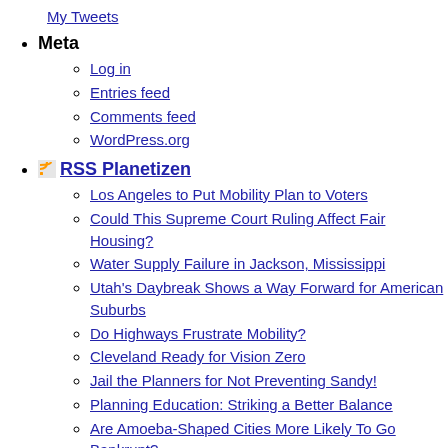My Tweets
Meta
Log in
Entries feed
Comments feed
WordPress.org
RSS Planetizen
Los Angeles to Put Mobility Plan to Voters
Could This Supreme Court Ruling Affect Fair Housing?
Water Supply Failure in Jackson, Mississippi
Utah's Daybreak Shows a Way Forward for American Suburbs
Do Highways Frustrate Mobility?
Cleveland Ready for Vision Zero
Jail the Planners for Not Preventing Sandy!
Planning Education: Striking a Better Balance
Are Amoeba-Shaped Cities More Likely To Go Bankrupt?
A Brave New World: How Are Are Cites...